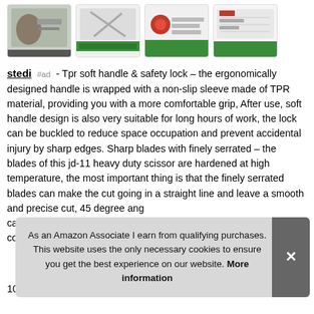[Figure (screenshot): Four product thumbnail images of scissors/cutting tools shown in a horizontal row]
stedi #ad - Tpr soft handle & safety lock – the ergonomically designed handle is wrapped with a non-slip sleeve made of TPR material, providing you with a more comfortable grip, After use, soft handle design is also very suitable for long hours of work, the lock can be buckled to reduce space occupation and prevent accidental injury by sharp edges. Sharp blades with finely serrated – the blades of this jd-11 heavy duty scissor are hardened at high temperature, the most important thing is that the finely serrated blades can make the cut going in a straight line and leave a smooth and precise cut, 45 degree ang... car... con...
As an Amazon Associate I earn from qualifying purchases. This website uses the only necessary cookies to ensure you get the best experience on our website. More information
100